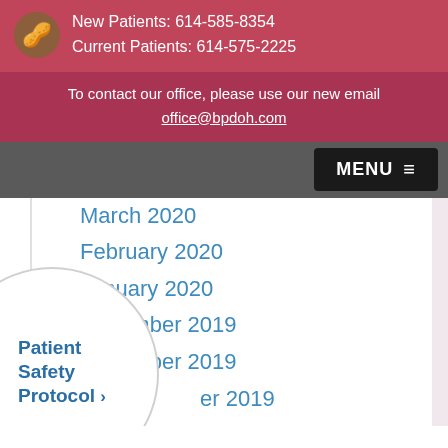New Patients: 614-585-8354
Current Patients: 614-575-2225
To contact our office, please use our new email
office@bpdoh.com
March 2020
February 2020
January 2020
December 2019
November 2019
er 2019
er 2019
019
Patient Safety Protocol ›